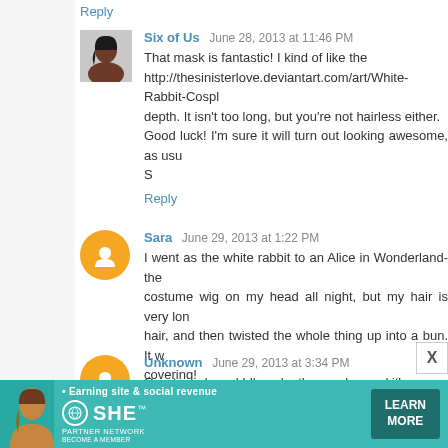Reply
Six of Us   June 28, 2013 at 11:46 PM
That mask is fantastic! I kind of like the http://thesinisterlove.deviantart.com/art/White-Rabbit-Cospl depth. It isn't too long, but you're not hairless either.
Good luck! I'm sure it will turn out looking awesome, as usu
S
Reply
Sara   June 29, 2013 at 1:22 PM
I went as the white rabbit to an Alice in Wonderland-ther costume wig on my head all night, but my hair is very long hair, and then twisted the whole thing up into a bun. It w covering!
Reply
Unknown   June 29, 2013 at 3:34 PM
Great mask work! I'm a leather worker and it's great to
[Figure (infographic): SHE Partner Network advertisement banner - Earning site & social revenue - LEARN MORE button]